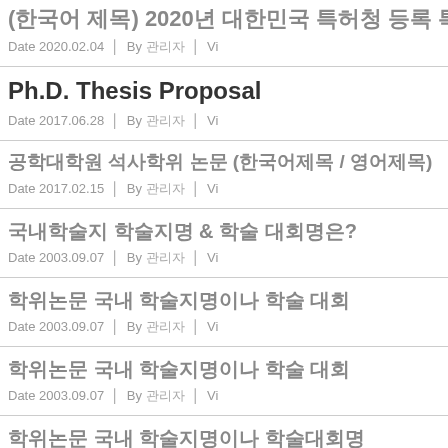(한국어 제목) 2020년 대한민국 특허청 등록 특허
Date 2020.02.04 | By 관리자 | Vi
Ph.D. Thesis Proposal
Date 2017.06.28 | By 관리자 | Vi
공학대학원 석사학위 논문 (한국어제목 / 영어제목)
Date 2017.02.15 | By 관리자 | Vi
국내학술지 학술지명 & 학술 대회명은?
Date 2003.09.07 | By 관리자 | Vi
학위논문 국내 학술지명이나 학술 대회
Date 2003.09.07 | By 관리자 | Vi
학위논문 국내 학술지명이나 학술 대회
Date 2003.09.07 | By 관리자 | Vi
학위논문 국내 학술지명이나 학술대회명
Date 2003.09.07 | By 관리자 | Vi